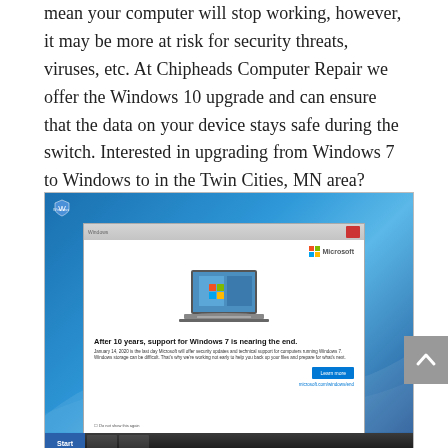mean your computer will stop working, however, it may be more at risk for security threats, viruses, etc. At Chipheads Computer Repair we offer the Windows 10 upgrade and can ensure that the data on your device stays safe during the switch. Interested in upgrading from Windows 7 to Windows to in the Twin Cities, MN area? Contact us today, we can come to you, you can come to us or you can even mail in your device.
[Figure (screenshot): Screenshot of a Windows 7 desktop showing a Microsoft dialog box about end of support for Windows 7, with text 'After 10 years, support for Windows 7 is nearing the end.' and a Learn more button.]